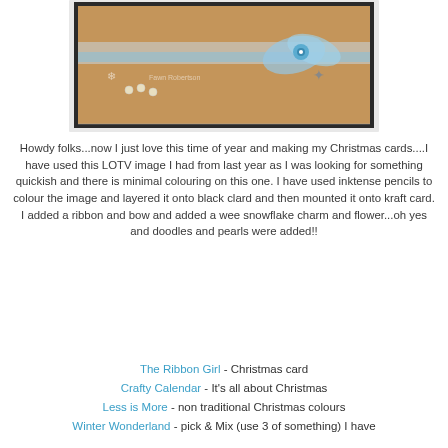[Figure (photo): Handmade Christmas card on kraft card with blue ribbon bow, blue flower, snowflake charm, pearls and doodles]
Howdy folks...now I just love this time of year and making my Christmas cards....I have used this LOTV image I had from last year as I was looking for something quickish and there is minimal colouring on this one. I have used inktense pencils to colour the image and layered it onto black clard and then mounted it onto kraft card. I added a ribbon and bow and added a wee snowflake charm and flower...oh yes and doodles and pearls were added!!
The Ribbon Girl - Christmas card
Crafty Calendar - It's all about Christmas
Less is More - non traditional Christmas colours
Winter Wonderland - pick & Mix (use 3 of something) I have